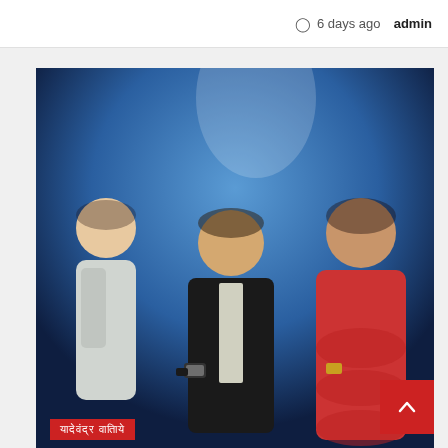6 days ago  admin
[Figure (photo): Three people posing at an event — a woman in white on the left, a man in a dark blazer showing his wrist watch in the center, and a woman in a red dress on the right, with a blue light background. An overlay label in red shows text in Hindi/regional script.]
Swiss watchmaker, Tissot, hosted a PRX 35mm watch showcasing event in Kolkata
1 week ago  admin